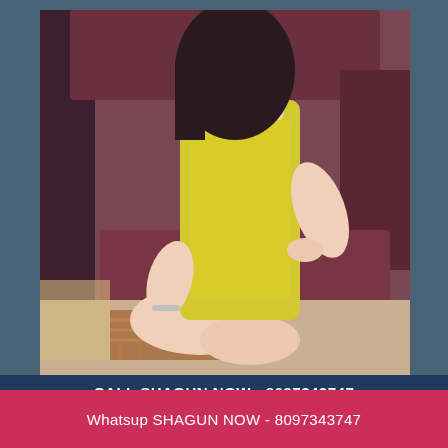[Figure (photo): A woman wearing a yellow dress seated on a dark red/maroon sofa or couch. The photo is cropped and does not show the woman's face. She has dark hair and is wearing a bracelet.]
CALL SHAGUN NOW - 8097343747
Whatsup SHAGUN NOW - 8097343747